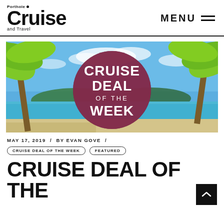Porthole Cruise and Travel | MENU
[Figure (illustration): Cruise Deal of the Week promotional banner image showing a tropical beach scene with palm trees, blue sky, and a large dark red/purple circle in the center containing the text CRUISE DEAL OF THE WEEK in bold white letters.]
MAY 17, 2019 / BY EVAN GOVE /
CRUISE DEAL OF THE WEEK | FEATURED
CRUISE DEAL OF THE